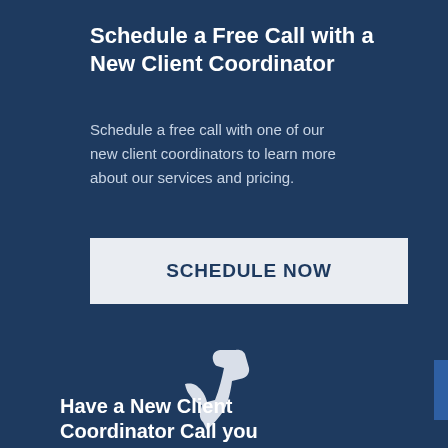Schedule a Free Call with a New Client Coordinator
Schedule a free call with one of our new client coordinators to learn more about our services and pricing.
SCHEDULE NOW
[Figure (illustration): White telephone handset icon on dark navy background]
Have a New Client Coordinator Call you